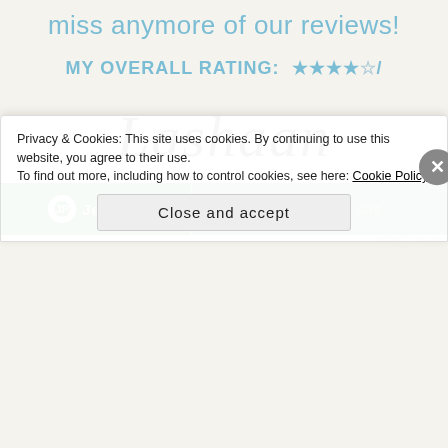miss anymore of our reviews!
MY OVERALL RATING: ★★★★☆/
[Figure (logo): Lashaan cursive script logo in black]
[Figure (screenshot): Jetpack green advertisement banner with 'back up your site' text]
REPORT THIS AD
Privacy & Cookies: This site uses cookies. By continuing to use this website, you agree to their use.
To find out more, including how to control cookies, see here: Cookie Policy
Close and accept